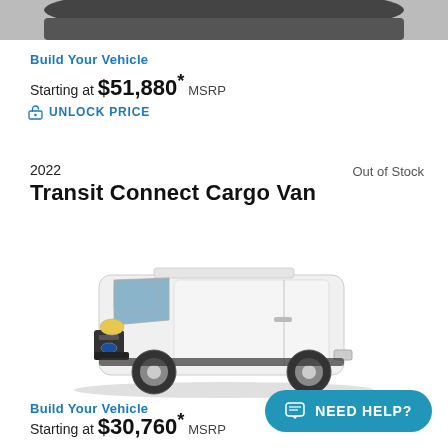[Figure (photo): Partial top view of a dark-colored vehicle (cropped at top)]
Build Your Vehicle
Starting at $51,880* MSRP
UNLOCK PRICE
Out of Stock
2022
Transit Connect Cargo Van
[Figure (photo): 2022 Ford Transit Connect Cargo Van, white, 3/4 front view]
Build Your Vehicle
Starting at $30,760* MSRP
NEED HELP?